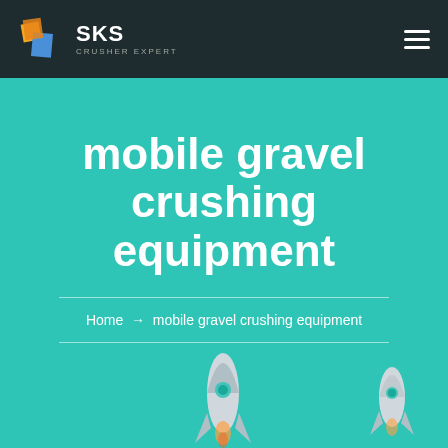[Figure (logo): SKS Crusher Expert logo with stylized geometric icon in orange and blue on dark background, with hamburger menu icon on right]
mobile gravel crushing equipment
Home → mobile gravel crushing equipment
[Figure (illustration): Two cartoon rocket illustrations at the bottom of the teal section]